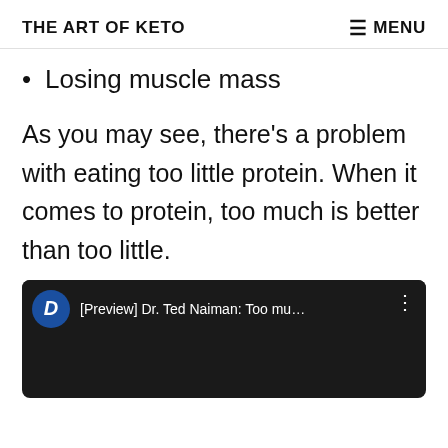THE ART OF KETO
Losing muscle mass
As you may see, there's a problem with eating too little protein. When it comes to protein, too much is better than too little.
[Figure (screenshot): Video preview thumbnail showing '[Preview] Dr. Ted Naiman: Too mu...' with a person visible in the lower portion against a dark brown/maroon background, with a blue D icon on the left of the title bar.]